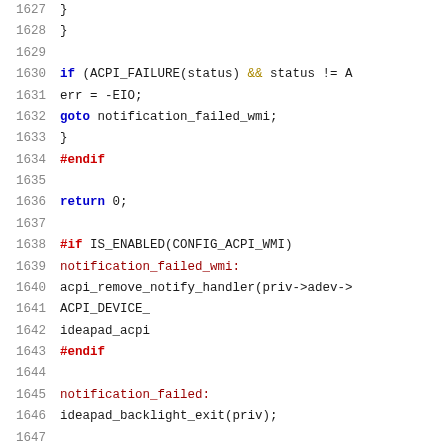[Figure (screenshot): Source code listing showing C code lines 1627-1647 with syntax highlighting. Line numbers in grey on left, keywords in blue/red/gold colors.]